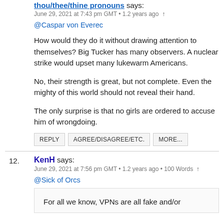thou/thee/thine pronouns says:
June 29, 2021 at 7:43 pm GMT • 1.2 years ago ↑
@Caspar von Everec
How would they do it without drawing attention to themselves? Big Tucker has many observers. A nuclear strike would upset many lukewarm Americans.

No, their strength is great, but not complete. Even the mighty of this world should not reveal their hand.

The only surprise is that no girls are ordered to accuse him of wrongdoing.
REPLY  AGREE/DISAGREE/ETC.  MORE...
12. KenH says:
June 29, 2021 at 7:56 pm GMT • 1.2 years ago • 100 Words ↑
@Sick of Orcs
For all we know, VPNs are all fake and/or